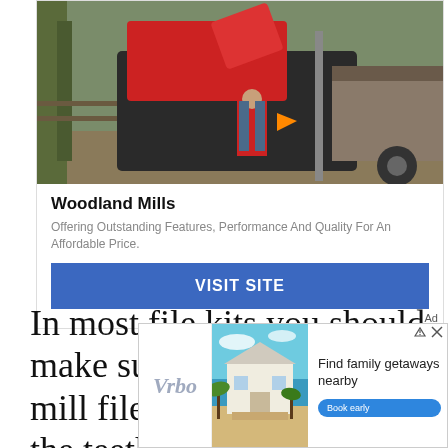[Figure (photo): Photo of a red wood chipper machine with a worker in a red plaid shirt and overalls, and a trailer on the right side, outdoors in a wooded area]
Woodland Mills
Offering Outstanding Features, Performance And Quality For An Affordable Price.
VISIT SITE
Ad
In most file kits you should make sure that you have a mill file for an evening out the teeth on the saw. A
[Figure (photo): Vrbo advertisement banner showing a beach house, with text 'Find family getaways nearby' and a 'Book early' button]